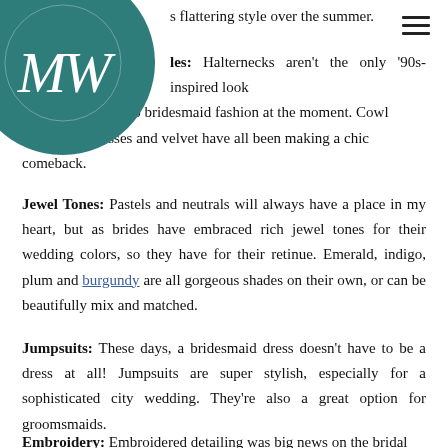[Figure (logo): Teal circular logo with MW monogram in white italic script]
s flattering style over the summer.
les: Halternecks aren't the only '90s-inspired look making its way into bridesmaid fashion at the moment. Cowl necks, slip dresses and velvet have all been making a chic comeback.
Jewel Tones: Pastels and neutrals will always have a place in my heart, but as brides have embraced rich jewel tones for their wedding colors, so they have for their retinue. Emerald, indigo, plum and burgundy are all gorgeous shades on their own, or can be beautifully mix and matched.
Jumpsuits: These days, a bridesmaid dress doesn't have to be a dress at all! Jumpsuits are super stylish, especially for a sophisticated city wedding. They're also a great option for groomsmaids.
Embroidery: Embroidered detailing was big news on the bridal